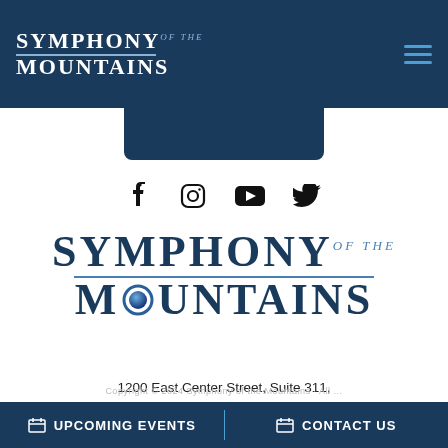Symphony of the Mountains
[Figure (logo): Symphony of the Mountains main logo with mountain imagery]
1200 East Center Street, Suite 311, Kingsport, TN 37660
Phone: 423.392.8423
info@symphonyofthemountains.org
UPCOMING EVENTS   CONTACT US